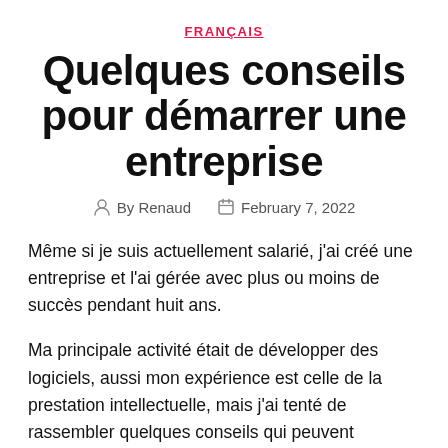FRANÇAIS
Quelques conseils pour démarrer une entreprise
By Renaud   February 7, 2022
Même si je suis actuellement salarié, j'ai créé une entreprise et l'ai gérée avec plus ou moins de succès pendant huit ans.
Ma principale activité était de développer des logiciels, aussi mon expérience est celle de la prestation intellectuelle, mais j'ai tenté de rassembler quelques conseils qui peuvent s'appliquer à la plupart des entreprises.